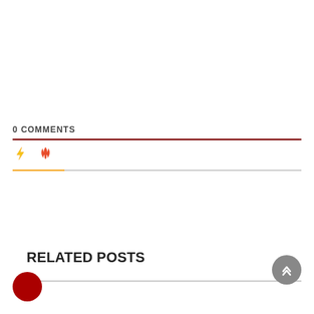0 COMMENTS
[Figure (illustration): Two icons: a yellow lightning bolt and a red/orange fire flame icon, with a gradient divider line below (orange on left, gray on right)]
RELATED POSTS